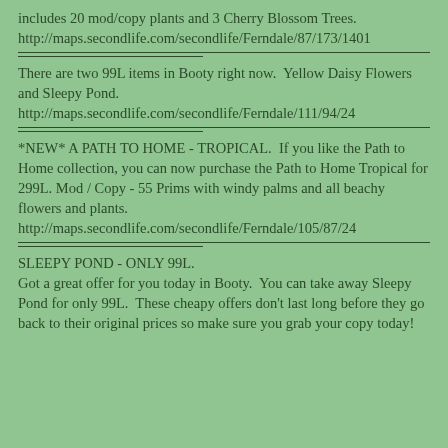includes 20 mod/copy plants and 3 Cherry Blossom Trees.
http://maps.secondlife.com/secondlife/Ferndale/87/173/1401
There are two 99L items in Booty right now.  Yellow Daisy Flowers and Sleepy Pond.
http://maps.secondlife.com/secondlife/Ferndale/111/94/24
*NEW* A PATH TO HOME - TROPICAL.  If you like the Path to Home collection, you can now purchase the Path to Home Tropical for 299L. Mod / Copy - 55 Prims with windy palms and all beachy flowers and plants.
http://maps.secondlife.com/secondlife/Ferndale/105/87/24
SLEEPY POND - ONLY 99L.
Got a great offer for you today in Booty.  You can take away Sleepy Pond for only 99L.  These cheapy offers don't last long before they go back to their original prices so make sure you grab your copy today!